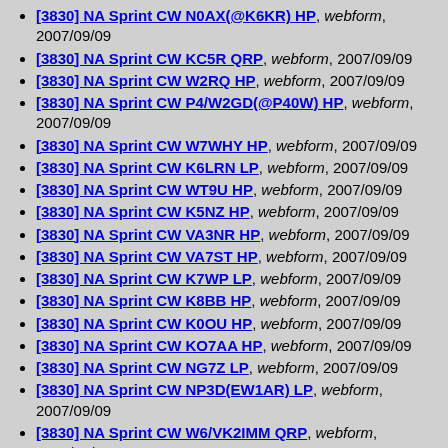[3830] NA Sprint CW N0AX(@K6KR) HP, webform, 2007/09/09
[3830] NA Sprint CW KC5R QRP, webform, 2007/09/09
[3830] NA Sprint CW W2RQ HP, webform, 2007/09/09
[3830] NA Sprint CW P4/W2GD(@P40W) HP, webform, 2007/09/09
[3830] NA Sprint CW W7WHY HP, webform, 2007/09/09
[3830] NA Sprint CW K6LRN LP, webform, 2007/09/09
[3830] NA Sprint CW WT9U HP, webform, 2007/09/09
[3830] NA Sprint CW K5NZ HP, webform, 2007/09/09
[3830] NA Sprint CW VA3NR HP, webform, 2007/09/09
[3830] NA Sprint CW VA7ST HP, webform, 2007/09/09
[3830] NA Sprint CW K7WP LP, webform, 2007/09/09
[3830] NA Sprint CW K8BB HP, webform, 2007/09/09
[3830] NA Sprint CW K0OU HP, webform, 2007/09/09
[3830] NA Sprint CW KO7AA HP, webform, 2007/09/09
[3830] NA Sprint CW NG7Z LP, webform, 2007/09/09
[3830] NA Sprint CW NP3D(EW1AR) LP, webform, 2007/09/09
[3830] NA Sprint CW W6/VK2IMM QRP, webform, 2007/09/09
[3830] NA Sprint CW N4GG HP, webform, 2007/09/09
[3830] NA Sprint CW N4AF HP, webform, 2007/09/09
[3830] NA Sprint CW K6LA HP, webform, 2007/09/09
[3830] NA Sprint CW K6RB HP, webform, 2007/09/09
[3830] NA Sprint CW N4OGW HP, webform, 2007/09/09